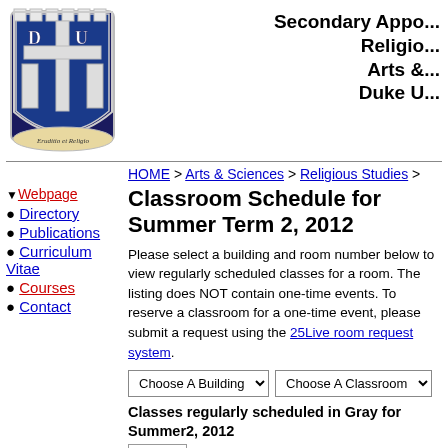[Figure (logo): Duke University shield logo with blue and white cross design and Latin motto 'Eruditio et Religio']
Secondary Appo...
Religio...
Arts &...
Duke U...
HOME > Arts & Sciences > Religious Studies >
▼ Webpage
Directory
Publications
Curriculum Vitae
Courses
Contact
Classroom Schedule for Summer Term 2, 2012
Please select a building and room number below to view regularly scheduled classes for a room. The listing does NOT contain one-time events. To reserve a classroom for a one-time event, please submit a request using the 25Live room request system.
Choose A Building ▾   Choose A Classroom ▾
Classes regularly scheduled in Gray for Summer2, 2012
MON...